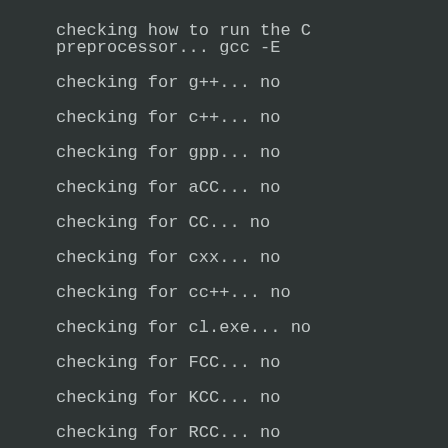checking how to run the C preprocessor... gcc -E
checking for g++... no
checking for c++... no
checking for gpp... no
checking for aCC... no
checking for CC... no
checking for cxx... no
checking for cc++... no
checking for cl.exe... no
checking for FCC... no
checking for KCC... no
checking for RCC... no